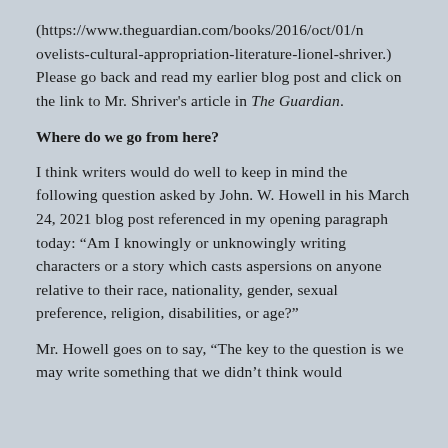(https://www.theguardian.com/books/2016/oct/01/novelists-cultural-appropriation-literature-lionel-shriver.) Please go back and read my earlier blog post and click on the link to Mr. Shriver's article in The Guardian.
Where do we go from here?
I think writers would do well to keep in mind the following question asked by John. W. Howell in his March 24, 2021 blog post referenced in my opening paragraph today: “Am I knowingly or unknowingly writing characters or a story which casts aspersions on anyone relative to their race, nationality, gender, sexual preference, religion, disabilities, or age?”
Mr. Howell goes on to say, “The key to the question is we may write something that we didn’t think would